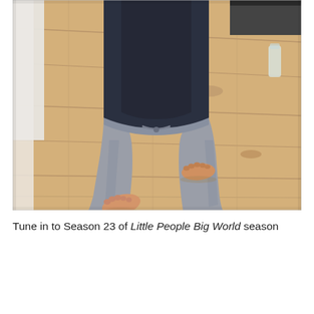[Figure (photo): A toddler walking barefoot on a light wood laminate floor, wearing gray sweatpants and a dark navy top. The child is mid-step with one foot lifted and one foot on the floor. A dark piece of furniture is visible in the upper right background.]
Tune in to Season 23 of Little People Big World season